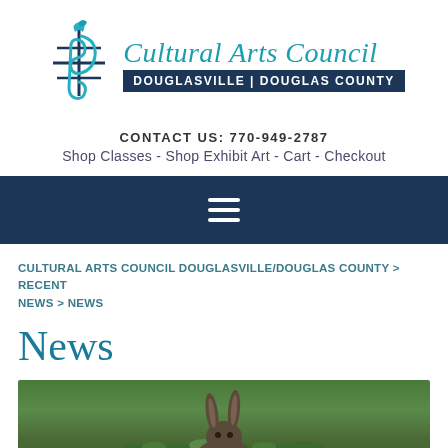[Figure (logo): Cultural Arts Council Douglasville Douglas County logo with musical note icon and teal cursive text]
CONTACT US: 770-949-2787
Shop Classes - Shop Exhibit Art - Cart - Checkout
[Figure (other): Dark navy navigation bar with hamburger menu icon]
CULTURAL ARTS COUNCIL DOUGLASVILLE/DOUGLAS COUNTY > RECENT NEWS > NEWS
News
[Figure (photo): Photo of a dark-colored rabbit sitting in green grass]